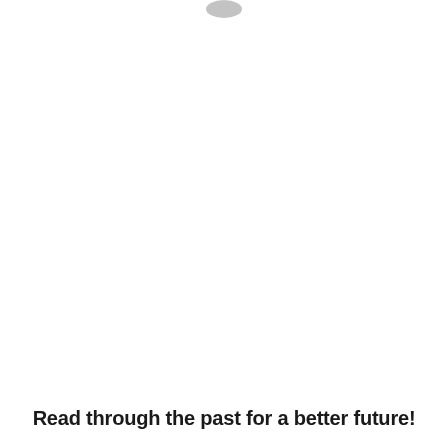[Figure (logo): Small logo or icon at the top center of the page, partially visible]
Read through the past for a better future!